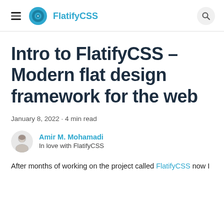FlatifyCSS
Intro to FlatifyCSS – Modern flat design framework for the web
January 8, 2022 · 4 min read
Amir M. Mohamadi
In love with FlatifyCSS
After months of working on the project called FlatifyCSS now I